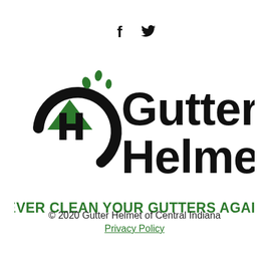[Figure (logo): Social media icons: Facebook (f) and Twitter (bird) in black]
[Figure (logo): Gutter Helmet logo with house icon in black and green, text 'Gutter Helmet' in bold black, tagline 'NEVER CLEAN YOUR GUTTERS AGAIN®' in bold green]
© 2020 Gutter Helmet of Central Indiana
Privacy Policy